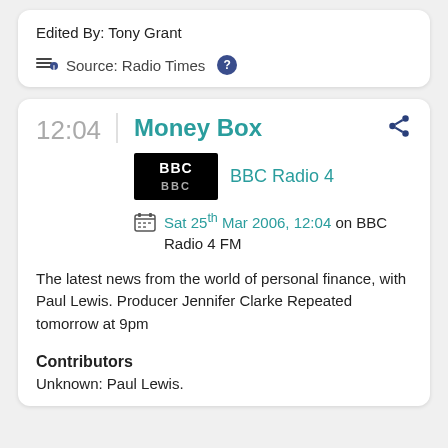Edited By: Tony Grant
Source: Radio Times
12:04
Money Box
BBC Radio 4
Sat 25th Mar 2006, 12:04 on BBC Radio 4 FM
The latest news from the world of personal finance, with Paul Lewis. Producer Jennifer Clarke Repeated tomorrow at 9pm
Contributors
Unknown: Paul Lewis.